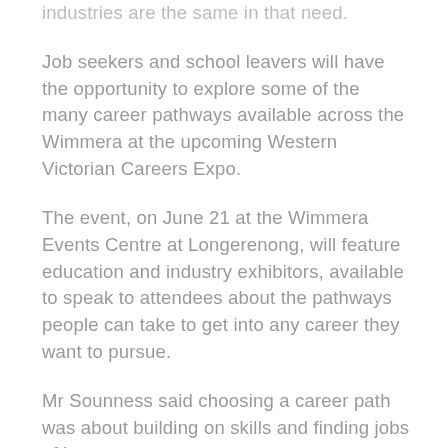industries are the same in that need.
Job seekers and school leavers will have the opportunity to explore some of the many career pathways available across the Wimmera at the upcoming Western Victorian Careers Expo.
The event, on June 21 at the Wimmera Events Centre at Longerenong, will feature education and industry exhibitors, available to speak to attendees about the pathways people can take to get into any career they want to pursue.
Mr Soundness said choosing a career path was about building on skills and finding jobs of interest.
“Your passion might not be the first job you